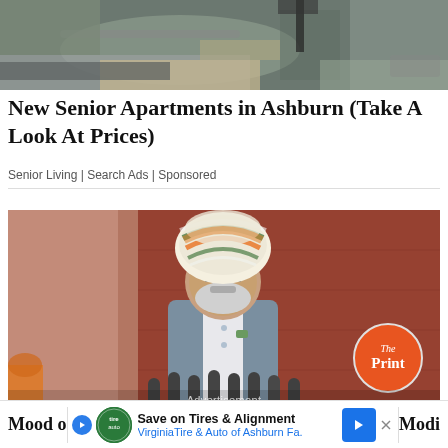[Figure (photo): Aerial/street view photo of a parking area or roundabout with landscaping, shown as advertisement banner at top]
New Senior Apartments in Ashburn (Take A Look At Prices)
Senior Living | Search Ads | Sponsored
[Figure (photo): Photo of Narendra Modi wearing a colorful turban and grey jacket, standing at a podium with microphones, at what appears to be Red Fort. The Print watermark logo is visible in the bottom right. Advertisement overlay text is shown at the bottom of the image.]
Advertisement
Mood o...
[Figure (infographic): Bottom advertisement banner: Save on Tires & Alignment - Virginia Tire & Auto of Ashburn Fa. with logo and arrow button]
Modi